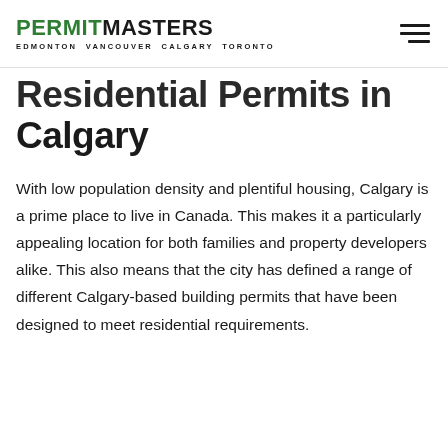PERMIT MASTERS — EDMONTON VANCOUVER CALGARY TORONTO
Residential Permits in Calgary
With low population density and plentiful housing, Calgary is a prime place to live in Canada. This makes it a particularly appealing location for both families and property developers alike. This also means that the city has defined a range of different Calgary-based building permits that have been designed to meet residential requirements.